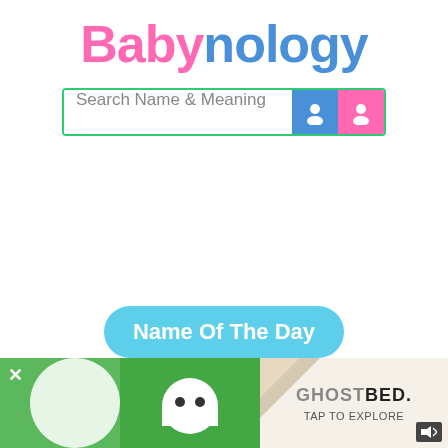Babynology
[Figure (screenshot): Search bar with label 'Search Name & Meaning' and blue/pink gender icon buttons]
[Figure (screenshot): Name Of The Day teal rounded button banner]
[Figure (screenshot): GhostBed advertisement banner at bottom with green background, ghost icon, and 'TAP TO EXPLORE' text]